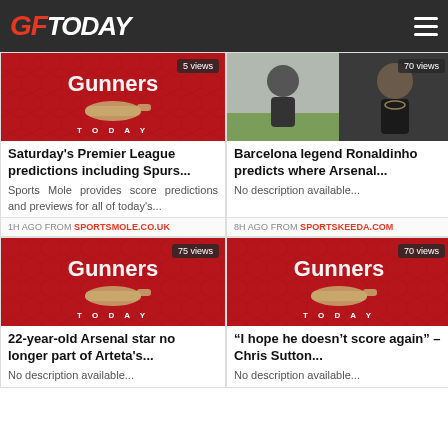GFToday
[Figure (screenshot): Arsenal Gunners Today logo on red background, labeled '5 views']
Saturday's Premier League predictions including Spurs...
Sports Mole provides score predictions and previews for all of today's...
1H AGO FROM SPORTSMOLE.CO.UK
[Figure (photo): Mikel Arteta and Ronaldinho side by side photo, labeled '70 views']
Barcelona legend Ronaldinho predicts where Arsenal...
No description available...
8H AGO FROM SPORTSKEEDA.COM
[Figure (screenshot): Arsenal Gunners Today logo on red background, labeled '75 views']
22-year-old Arsenal star no longer part of Arteta's...
No description available...
[Figure (screenshot): Arsenal Gunners Today logo on red background, labeled '70 views']
“I hope he doesn’t score again” – Chris Sutton...
No description available...